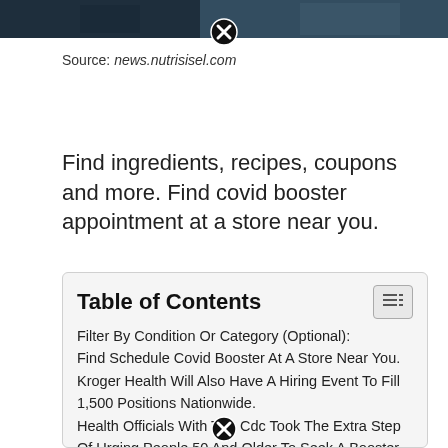[Figure (photo): Dark colored image strip at the top of the page, partially visible, with a close/dismiss button overlay]
Source: news.nutrisisel.com
Find ingredients, recipes, coupons and more. Find covid booster appointment at a store near you.
Table of Contents
Filter By Condition Or Category (Optional):
Find Schedule Covid Booster At A Store Near You.
Kroger Health Will Also Have A Hiring Event To Fill 1,500 Positions Nationwide.
Health Officials With The Cdc Took The Extra Step Of Urging People 50 And Older To Seek A Booster Shot, Aiming To.
“With The Flu Season Quickly Approaching, It Is Important To.
Related posts: